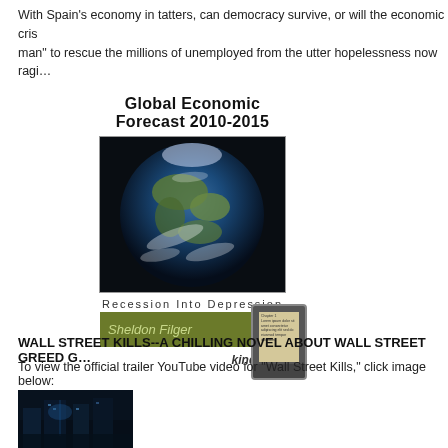With Spain’s economy in tatters, can democracy survive, or will the economic cris… man” to rescue the millions of unemployed from the utter hopelessness now ragi…
[Figure (illustration): Book cover for 'Global Economic Forecast 2010-2015' by Sheldon Filger, Kindle edition. Shows globe image with text 'Recession Into Depression' and olive-green author bar with a Kindle device illustration.]
WALL STREET KILLS--A CHILLING NOVEL ABOUT WALL STREET GREED G…
To view the official trailer YouTube video for “Wall Street Kills,” click image below:
[Figure (screenshot): Dark thumbnail image of a city street at night, likely a video thumbnail for Wall Street Kills trailer.]